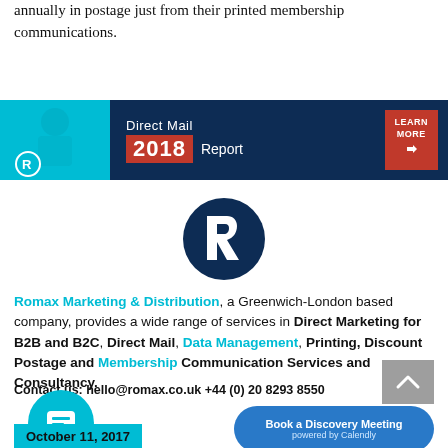annually in postage just from their printed membership communications.
[Figure (infographic): Direct Mail 2018 Report banner with cyan background image on left, dark navy center with red 2018 label, and red LEARN MORE button]
[Figure (logo): Romax R logo - white R in dark navy circle]
Romax Marketing & Distribution, a Greenwich-London based company, provides a wide range of services in Direct Marketing for B2B and B2C, Direct Mail, Data Management, Printing, Discount Postage and Membership Communication Services and Consultancy.
Contact us: hello@romax.co.uk +44 (0) 20 8293 8550
Comments
October 11, 2017